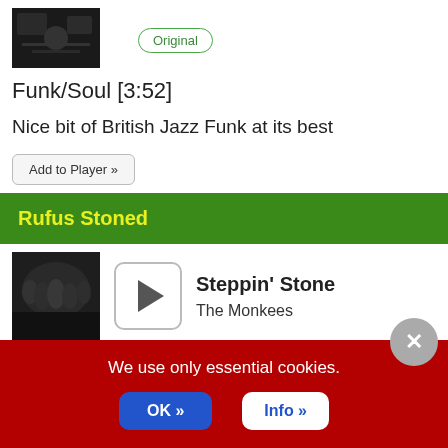[Figure (photo): Dark thumbnail album art photo]
Original
Funk/Soul [3:52]
Nice bit of British Jazz Funk at its best
Add to Player »
Rufus Stoned
[Figure (photo): Band photo - group of people in dark setting]
Steppin' Stone
The Monkees
We use only essential cookies.
OK »
Info »